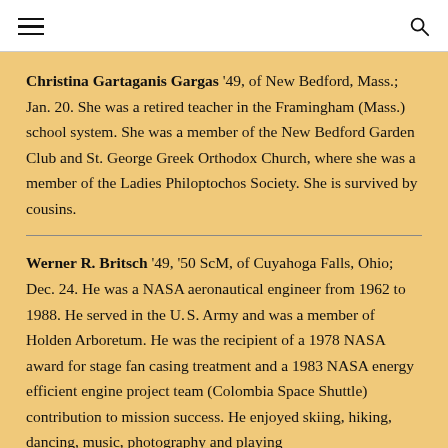navigation header with hamburger menu and search icon
Christina Gartaganis Gargas '49, of New Bedford, Mass.; Jan. 20. She was a retired teacher in the Framingham (Mass.) school system. She was a member of the New Bedford Garden Club and St. George Greek Orthodox Church, where she was a member of the Ladies Philoptochos Society. She is survived by cousins.
Werner R. Britsch '49, '50 ScM, of Cuyahoga Falls, Ohio; Dec. 24. He was a NASA aeronautical engineer from 1962 to 1988. He served in the U.S. Army and was a member of Holden Arboretum. He was the recipient of a 1978 NASA award for stage fan casing treatment and a 1983 NASA energy efficient engine project team (Colombia Space Shuttle) contribution to mission success. He enjoyed skiing, hiking, dancing, music, photography and playing